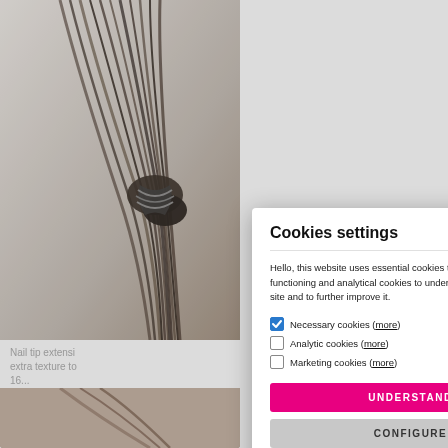[Figure (screenshot): Background e-commerce page showing a hair extensions product card with image, description text 'Nail tip extensi... extra texture to... 16...' and price '$32.95', and a second card header '16 INCH (40CM... EXTENSIONS -']
Cookies settings
Hello, this website uses essential cookies to ensure proper functioning and analytical cookies to understand how you use the site and to further improve it.
Necessary cookies (more)
Analytic cookies (more)
Marketing cookies (more)
UNDERSTAND
CONFIGURE
More informations about saving cookies